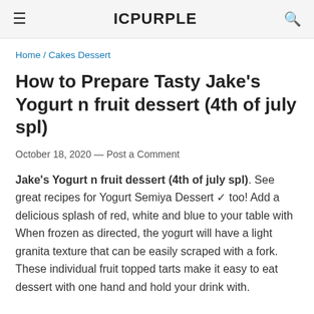ICPURPLE
Home / Cakes Dessert
How to Prepare Tasty Jake's Yogurt n fruit dessert (4th of july spl)
October 18, 2020 — Post a Comment
Jake's Yogurt n fruit dessert (4th of july spl). See great recipes for Yogurt Semiya Dessert ✓ too! Add a delicious splash of red, white and blue to your table with When frozen as directed, the yogurt will have a light granita texture that can be easily scraped with a fork. These individual fruit topped tarts make it easy to eat dessert with one hand and hold your drink with.